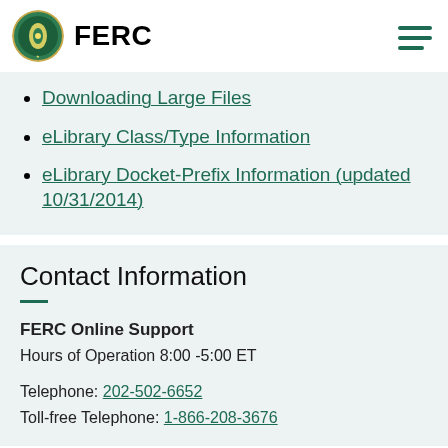FERC
Downloading Large Files
eLibrary Class/Type Information
eLibrary Docket-Prefix Information (updated 10/31/2014)
Contact Information
FERC Online Support
Hours of Operation 8:00 -5:00 ET

Telephone: 202-502-6652
Toll-free Telephone: 1-866-208-3676